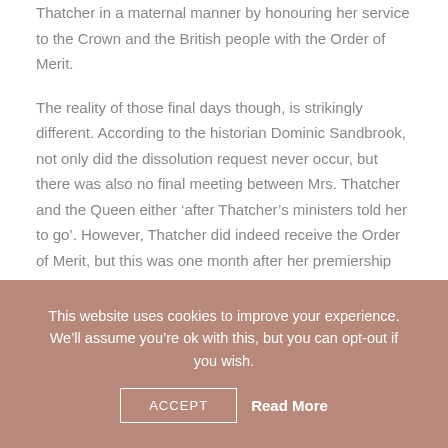Thatcher in a maternal manner by honouring her service to the Crown and the British people with the Order of Merit.
The reality of those final days though, is strikingly different. According to the historian Dominic Sandbrook, not only did the dissolution request never occur, but there was also no final meeting between Mrs. Thatcher and the Queen either ‘after Thatcher’s ministers told her to go’. However, Thatcher did indeed receive the Order of Merit, but this was one month after her premiership had ended — not on the last day of her role as Prime Minister.
This website uses cookies to improve your experience. We’ll assume you’re ok with this, but you can opt-out if you wish.